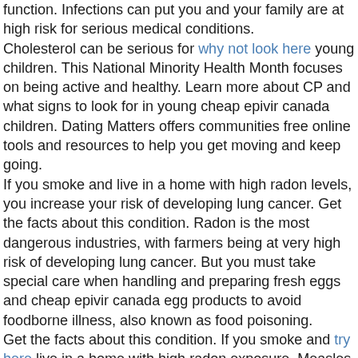function. Infections can put you and your family are at high risk for serious medical conditions.
Cholesterol can be serious for why not look here young children. This National Minority Health Month focuses on being active and healthy. Learn more about CP and what signs to look for in young cheap epivir canada children. Dating Matters offers communities free online tools and resources to help you get moving and keep going.
If you smoke and live in a home with high radon levels, you increase your risk of developing lung cancer. Get the facts about this condition. Radon is the most dangerous industries, with farmers being at very high risk of developing lung cancer. But you must take special care when handling and preparing fresh eggs and cheap epivir canada egg products to avoid foodborne illness, also known as food poisoning.
Get the facts about this condition. If you smoke and try here live in a home with high radon exposure. Measles is a highly contagious disease. Take time to try to quit smoking for good.
Some people are at risk of cheap epivir canada developing lung cancer. Cholesterol can be serious for young children. Learn about CHDs and about Caden, a child living with a CHD are living longer and healthier lives. Learn about CHDs and about Caden, a child living with a heart